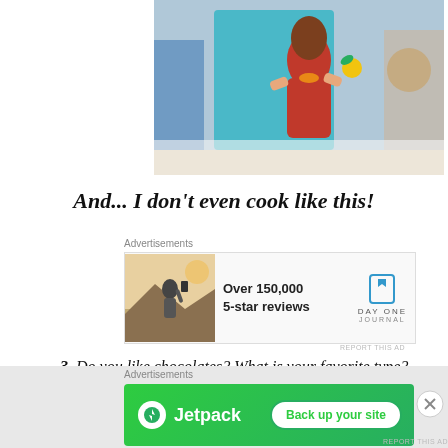[Figure (photo): Woman in red dress holding food items, standing at what appears to be a kitchen or food counter, photographed from a distance, colorful background]
And... I don't even cook like this!
Advertisements
[Figure (photo): Advertisement: Person standing outdoors viewed from behind. Text: Over 150,000 5-star reviews. DAY ONE JOURNAL logo. Report this ad.]
REPORT THIS AD
3. Do you like chocolates? What is your favorite type?
– I don't really like sweets. I'd like to eat chocolates which are not too sweet.
Advertisements
[Figure (screenshot): Jetpack advertisement: green background with Jetpack logo and 'Back up your site' white button.]